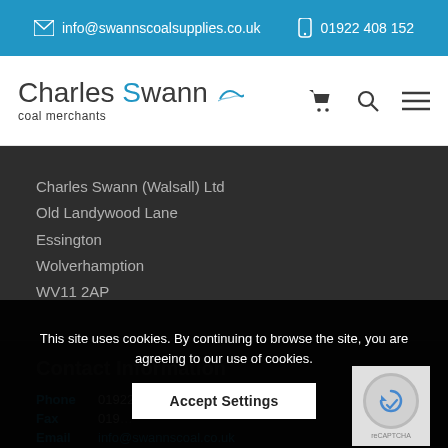info@swannscoalsupplies.co.uk   01922 408 152
[Figure (logo): Charles Swann coal merchants logo with blue S letter and wave icon]
Charles Swann (Walsall) Ltd
Old Landywood Lane
Essington
Wolverhampton
WV11 2AP
Contact Information
Phone  01922 408 152
Fax  01922
Email  info@swannscoal.co.uk
This site uses cookies. By continuing to browse the site, you are agreeing to our use of cookies.